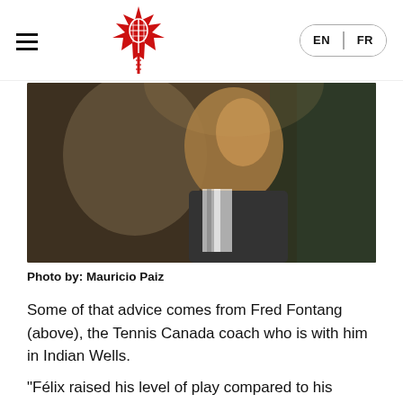Tennis Canada website header with logo and EN/FR language switcher
[Figure (photo): Close-up photograph of a man (Fred Fontang) in profile, wearing a striped collar shirt, with a blurred background in brown and green tones]
Photo by: Mauricio Paiz
Some of that advice comes from Fred Fontang (above), the Tennis Canada coach who is with him in Indian Wells.
“Félix raised his level of play compared to his